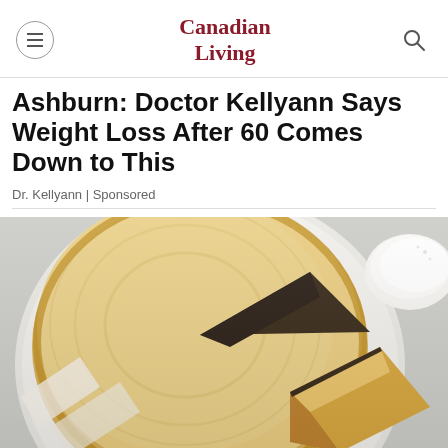Canadian Living
Ashburn: Doctor Kellyann Says Weight Loss After 60 Comes Down to This
Dr. Kellyann | Sponsored
[Figure (photo): A round golden-brown cake on a white plate, with one slice cut and pulled out slightly, revealing a dark interior layer. A white bowl is partially visible in the upper right corner.]
Lemon Olive Oil Cake